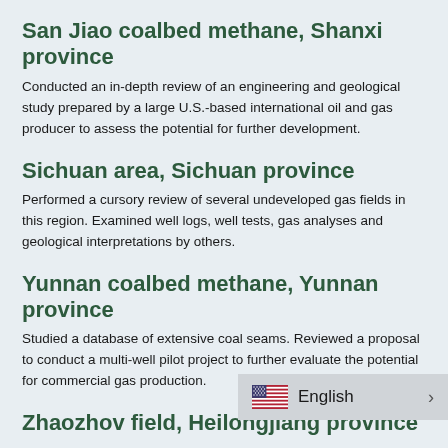San Jiao coalbed methane, Shanxi province
Conducted an in-depth review of an engineering and geological study prepared by a large U.S.-based international oil and gas producer to assess the potential for further development.
Sichuan area, Sichuan province
Performed a cursory review of several undeveloped gas fields in this region. Examined well logs, well tests, gas analyses and geological interpretations by others.
Yunnan coalbed methane, Yunnan province
Studied a database of extensive coal seams. Reviewed a proposal to conduct a multi-well pilot project to further evaluate the potential for commercial gas production.
Zhaozhov field, Heilongjiang province
Work in China's largest field has be... on of an opportunity to develop an a...